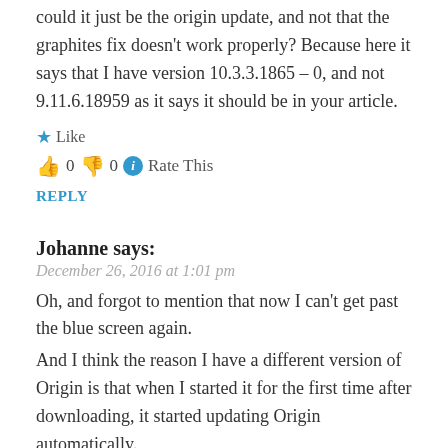could it just be the origin update, and not that the graphites fix doesn't work properly? Because here it says that I have version 10.3.3.1865 – 0, and not 9.11.6.18959 as it says it should be in your article.
★ Like
👍 0 👎 0 ℹ Rate This
REPLY
Johanne says:
December 26, 2016 at 1:01 pm
Oh, and forgot to mention that now I can't get past the blue screen again.
And I think the reason I have a different version of Origin is that when I started it for the first time after downloading, it started updating Origin automatically.
★ Like
👍 0 👎 0 ℹ Rate This